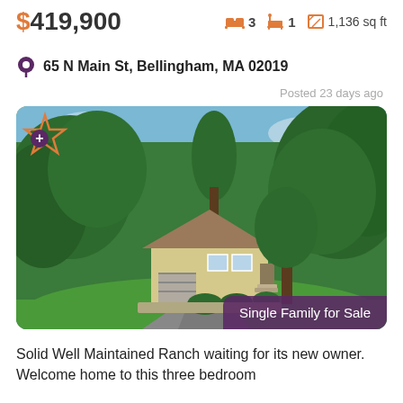$419,900
3 beds  1 bath  1,136 sq ft
65 N Main St, Bellingham, MA 02019
Posted 23 days ago
[Figure (photo): Aerial/elevated view of a tan ranch-style single family home surrounded by large green trees, with a driveway and garage visible, on a sunny day. A 'Single Family for Sale' badge is overlaid on the bottom right of the image.]
Single Family for Sale
Solid Well Maintained Ranch waiting for its new owner. Welcome home to this three bedroom